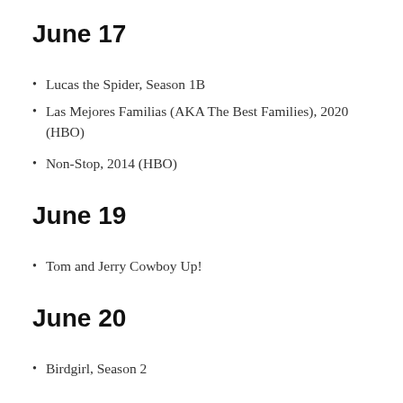June 17
Lucas the Spider, Season 1B
Las Mejores Familias (AKA The Best Families), 2020 (HBO)
Non-Stop, 2014 (HBO)
June 19
Tom and Jerry Cowboy Up!
June 20
Birdgirl, Season 2